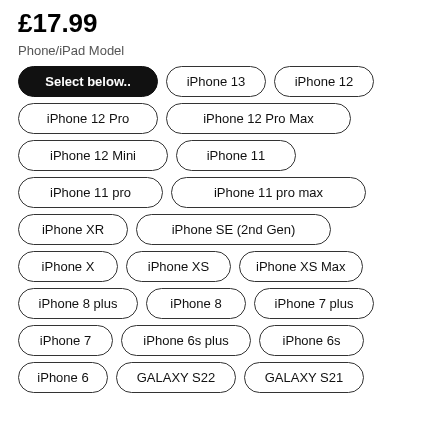£17.99
Phone/iPad Model
Select below..
iPhone 13
iPhone 12
iPhone 12 Pro
iPhone 12 Pro Max
iPhone 12 Mini
iPhone 11
iPhone 11 pro
iPhone 11 pro max
iPhone XR
iPhone SE (2nd Gen)
iPhone X
iPhone XS
iPhone XS Max
iPhone 8 plus
iPhone 8
iPhone 7 plus
iPhone 7
iPhone 6s plus
iPhone 6s
iPhone 6
GALAXY S22
GALAXY S21